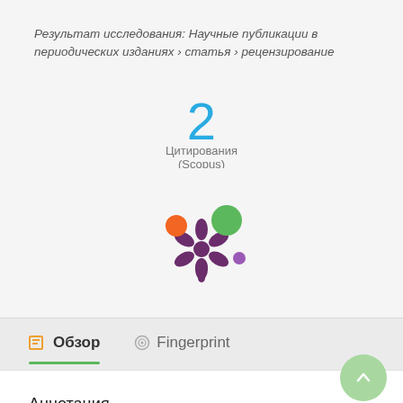Результат исследования: Научные публикации в периодических изданиях › статья › рецензирование
[Figure (infographic): Citation count: 2, Цитирования (Scopus)]
[Figure (logo): Scopus/Altmetric style splash logo with coloured circles and asterisk shape in purple, orange, green, violet]
📖 Обзор   🔵 Fingerprint
Аннотация